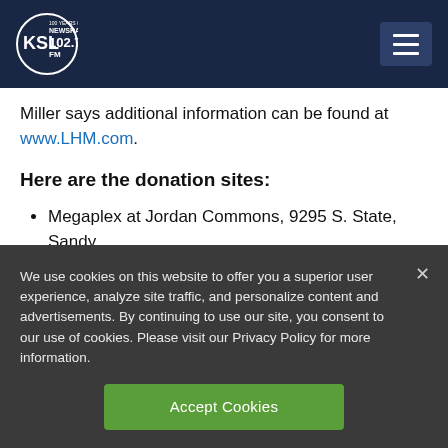[Figure (logo): KSL NewsRadio 102.7 FM logo with '100 Years of Trust' text, white on dark navy background, with hamburger menu button]
Miller says additional information can be found at www.LHM.com.
Here are the donation sites:
Megaplex at Jordan Commons, 9295 S. State, Sandy
We use cookies on this website to offer you a superior user experience, analyze site traffic, and personalize content and advertisements. By continuing to use our site, you consent to our use of cookies. Please visit our Privacy Policy for more information.